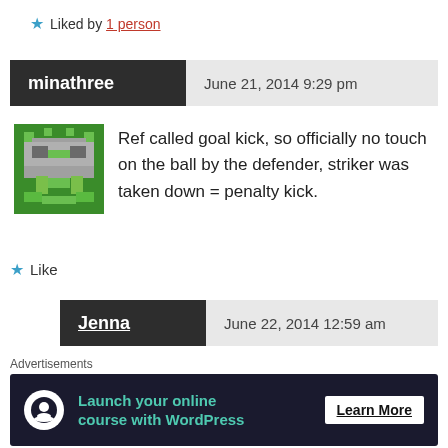★ Liked by 1 person
minathree  June 21, 2014 9:29 pm
[Figure (illustration): Pixel art avatar showing a green and gray character/creature on green background]
Ref called goal kick, so officially no touch on the ball by the defender, striker was taken down = penalty kick.
★ Like
Jenna  June 22, 2014 12:59 am
Advertisements
[Figure (infographic): Advertisement banner: Launch your online course with WordPress — Learn More]